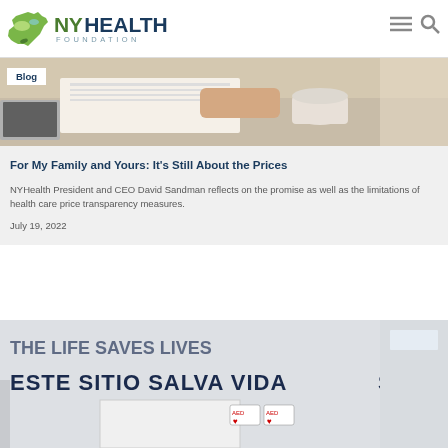NY Health Foundation
[Figure (photo): Person reading at a desk with coffee cup, partially visible]
Blog
For My Family and Yours: It's Still About the Prices
NYHealth President and CEO David Sandman reflects on the promise as well as the limitations of health care price transparency measures.
July 19, 2022
[Figure (photo): Wall with text ESTE SITIO SALVA VIDAS and AED equipment visible]